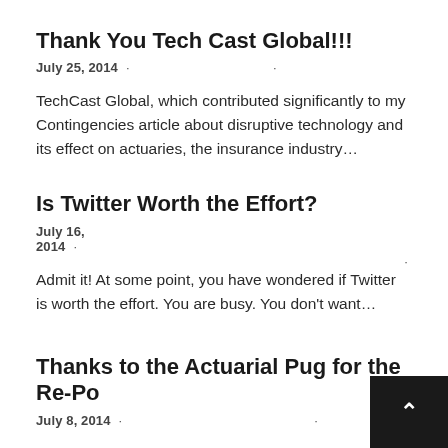Thank You Tech Cast Global!!!
July 25, 2014  ·                    ·
TechCast Global, which contributed significantly to my Contingencies article about disruptive technology and its effect on actuaries, the insurance industry…
Is Twitter Worth the Effort?
July 16, 2014  ·                                          ·
Admit it! At some point, you have wondered if Twitter is worth the effort. You are busy. You don't want…
Thanks to the Actuarial Pug for the Re-Po…
July 8, 2014  ·               ·